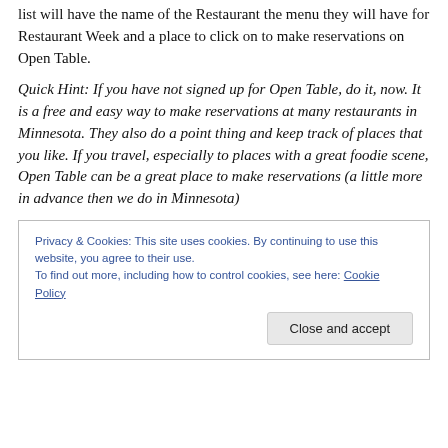list will have the name of the Restaurant the menu they will have for Restaurant Week and a place to click on to make reservations on Open Table.
Quick Hint: If you have not signed up for Open Table, do it, now. It is a free and easy way to make reservations at many restaurants in Minnesota. They also do a point thing and keep track of places that you like. If you travel, especially to places with a great foodie scene, Open Table can be a great place to make reservations (a little more in advance then we do in Minnesota)
Privacy & Cookies: This site uses cookies. By continuing to use this website, you agree to their use.
To find out more, including how to control cookies, see here: Cookie Policy
Close and accept